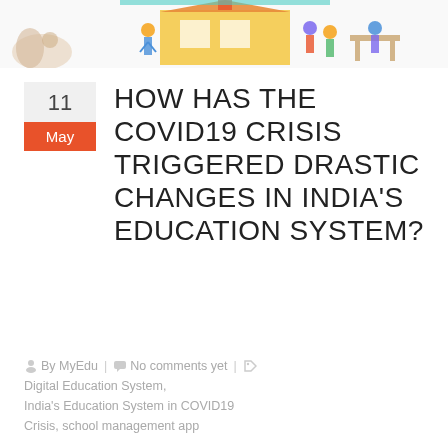[Figure (illustration): Illustration strip at top showing school/education themed characters and a building, with decorative figures of students and teachers]
HOW HAS THE COVID19 CRISIS TRIGGERED DRASTIC CHANGES IN INDIA'S EDUCATION SYSTEM?
By MyEdu  |  No comments yet  |  Digital Education System, India's Education System in COVID19 Crisis, school management app
Government-run schools, as well as private institutions in India, have introduced several reforms in the country's education model. However, archaic practices persist in the system. The